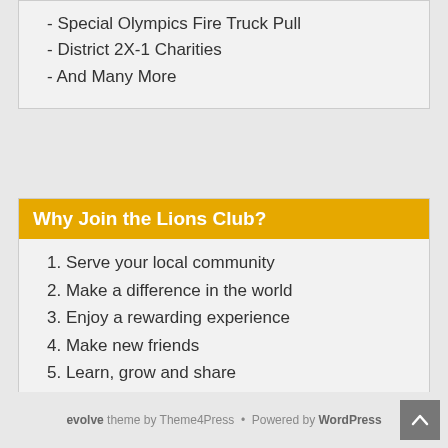- Special Olympics Fire Truck Pull
- District 2X-1 Charities
- And Many More
Why Join the Lions Club?
1. Serve your local community
2. Make a difference in the world
3. Enjoy a rewarding experience
4. Make new friends
5. Learn, grow and share
6. Grow as a family
7. Develop young leaders
evolve theme by Theme4Press • Powered by WordPress